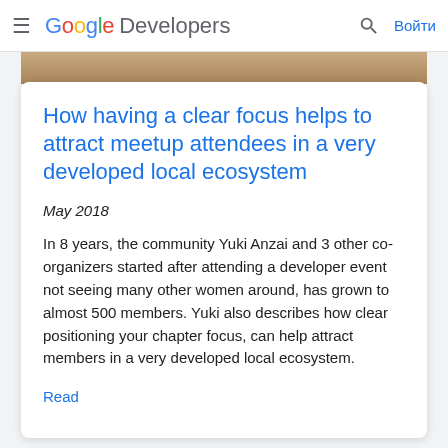≡ Google Developers  🔍  Войти
[Figure (photo): Partial photo strip at top of article card]
How having a clear focus helps to attract meetup attendees in a very developed local ecosystem
May 2018
In 8 years, the community Yuki Anzai and 3 other co-organizers started after attending a developer event not seeing many other women around, has grown to almost 500 members. Yuki also describes how clear positioning your chapter focus, can help attract members in a very developed local ecosystem.
Read